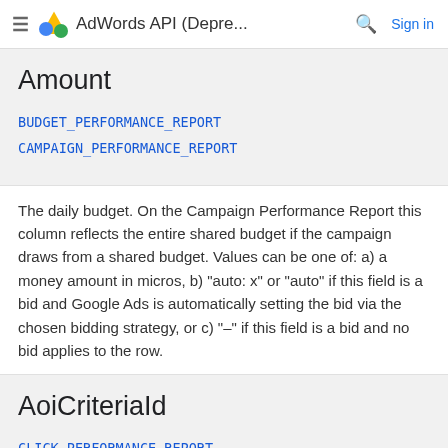AdWords API (Depre... Sign in
Amount
BUDGET_PERFORMANCE_REPORT
CAMPAIGN_PERFORMANCE_REPORT
The daily budget. On the Campaign Performance Report this column reflects the entire shared budget if the campaign draws from a shared budget. Values can be one of: a) a money amount in micros, b) "auto: x" or "auto" if this field is a bid and Google Ads is automatically setting the bid via the chosen bidding strategy, or c) "–" if this field is a bid and no bid applies to the row.
AoiCriteriald
CLICK_PERFORMANCE_REPORT
ID of the city of the Location criterion matching the location of interest associated with the impression. You can look up the